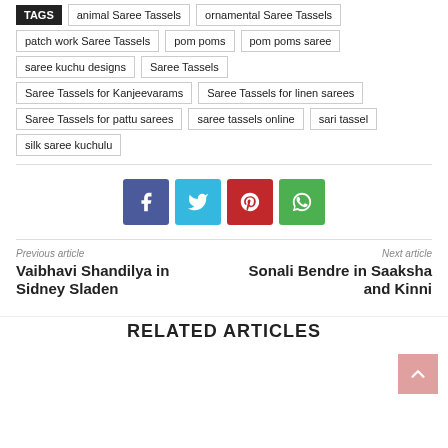TAGS | animal Saree Tassels | ornamental Saree Tassels
patch work Saree Tassels | pom poms | pom poms saree
saree kuchu designs | Saree Tassels
Saree Tassels for Kanjeevarams | Saree Tassels for linen sarees
Saree Tassels for pattu sarees | saree tassels online | sari tassel
silk saree kuchulu
[Figure (infographic): Social share buttons: Facebook (blue), Twitter (light blue), Pinterest (red), WhatsApp (green)]
Previous article
Vaibhavi Shandilya in Sidney Sladen
Next article
Sonali Bendre in Saaksha and Kinni
RELATED ARTICLES